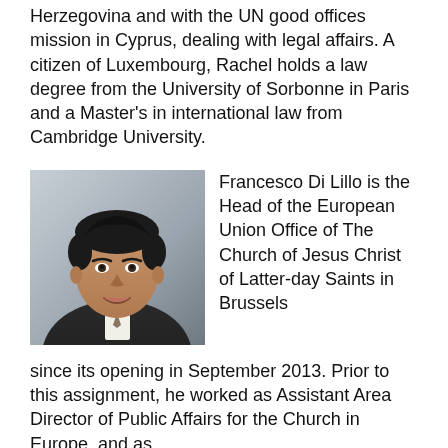Herzegovina and with the UN good offices mission in Cyprus, dealing with legal affairs. A citizen of Luxembourg, Rachel holds a law degree from the University of Sorbonne in Paris and a Master's in international law from Cambridge University.
[Figure (photo): Headshot of Francesco Di Lillo, a man in a dark suit with short dark hair, smiling, against a grey background.]
Francesco Di Lillo is the Head of the European Union Office of The Church of Jesus Christ of Latter-day Saints in Brussels since its opening in September 2013. Prior to this assignment, he worked as Assistant Area Director of Public Affairs for the Church in Europe, and as